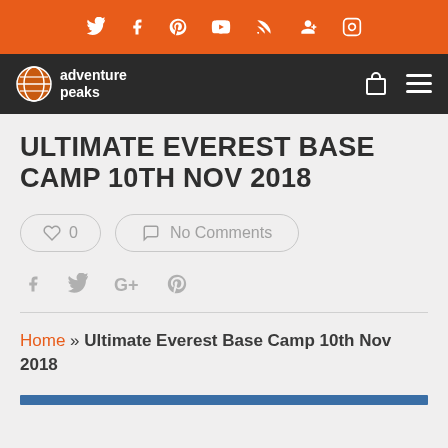Social bar with icons: Twitter, Facebook, Pinterest, YouTube, RSS, Google+, Instagram
Adventure Peaks navigation bar with logo, shopping bag and menu icons
ULTIMATE EVEREST BASE CAMP 10TH NOV 2018
♡ 0   No Comments
Share icons: Facebook, Twitter, Google+, Pinterest
Home » Ultimate Everest Base Camp 10th Nov 2018